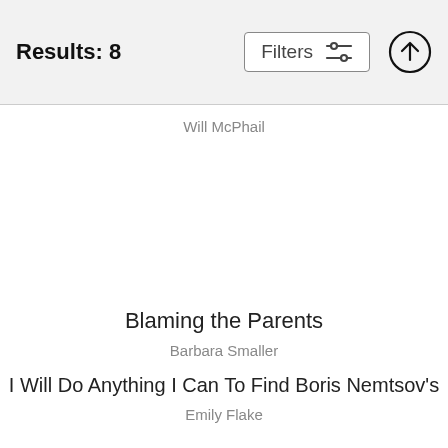Results: 8
Will McPhail
Blaming the Parents
Barbara Smaller
I Will Do Anything I Can To Find Boris Nemtsov's
Emily Flake